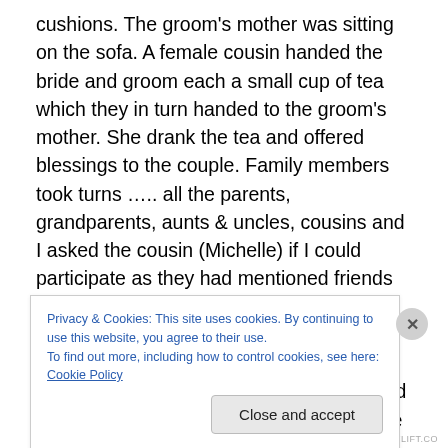cushions. The groom's mother was sitting on the sofa. A female cousin handed the bride and groom each a small cup of tea which they in turn handed to the groom's mother. She drank the tea and offered blessings to the couple. Family members took turns ….. all the parents, grandparents, aunts & uncles, cousins and I asked the cousin (Michelle) if I could participate as they had mentioned friends or anyone who would like to offer their blessings. So little old me was able to participate in the TEA CEREMONY. I was over the moon. The photographer snapped photos of everyone who participated in the tea
Privacy & Cookies: This site uses cookies. By continuing to use this website, you agree to their use.
To find out more, including how to control cookies, see here: Cookie Policy